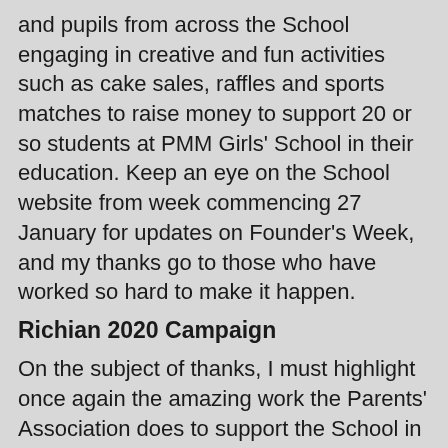and pupils from across the School engaging in creative and fun activities such as cake sales, raffles and sports matches to raise money to support 20 or so students at PMM Girls' School in their education. Keep an eye on the School website from week commencing 27 January for updates on Founder's Week, and my thanks go to those who have worked so hard to make it happen.
Richian 2020 Campaign
On the subject of thanks, I must highlight once again the amazing work the Parents' Association does to support the School in our activities and future plans. The PA have just donated an incredible £30,000 to our Richian 2020 Campaign, which aims to raise £170,000 to complete the new Business, Economics